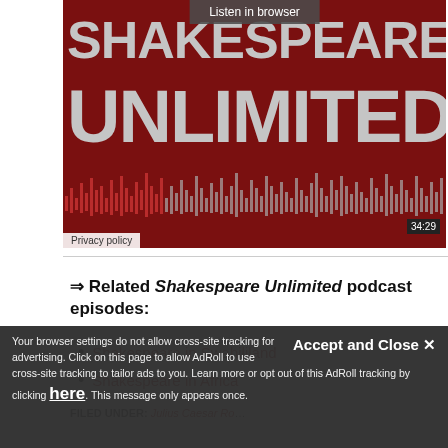[Figure (screenshot): Shakespeare Unlimited podcast player screenshot with dark red background, large gray text reading SHAKESPEARE UNLIMITED, waveform visualization, timer showing 34:29, Listen in browser button, and Privacy policy label]
⇒ Related Shakespeare Unlimited podcast episodes:
Shakespeare in Swahililand
Shakespeare in Africa
FILED UNDER: Julius Caesar Ro...
Accept and Close ✕
Your browser settings do not allow cross-site tracking for advertising. Click on this page to allow AdRoll to use cross-site tracking to tailor ads to you. Learn more or opt out of this AdRoll tracking by clicking here. This message only appears once.